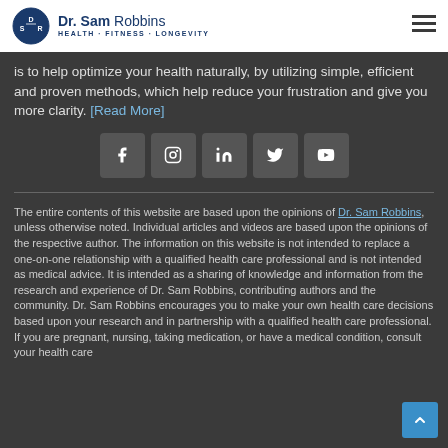[Figure (logo): Dr. Sam Robbins logo with circular DSR emblem and tagline Health · Fitness · Longevity]
is to help optimize your health naturally, by utilizing simple, efficient and proven methods, which help reduce your frustration and give you more clarity. [Read More]
[Figure (other): Social media icon buttons: Facebook, Instagram, LinkedIn, Twitter, YouTube]
The entire contents of this website are based upon the opinions of Dr. Sam Robbins, unless otherwise noted. Individual articles and videos are based upon the opinions of the respective author. The information on this website is not intended to replace a one-on-one relationship with a qualified health care professional and is not intended as medical advice. It is intended as a sharing of knowledge and information from the research and experience of Dr. Sam Robbins, contributing authors and the community. Dr. Sam Robbins encourages you to make your own health care decisions based upon your research and in partnership with a qualified health care professional. If you are pregnant, nursing, taking medication, or have a medical condition, consult your health care professional before using products based on this content.